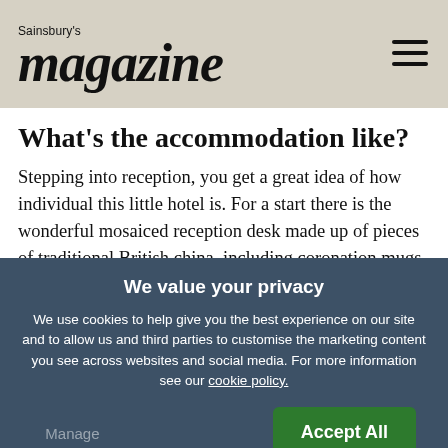Sainsbury's magazine
What's the accommodation like?
Stepping into reception, you get a great idea of how individual this little hotel is. For a start there is the wonderful mosaiced reception desk made up of pieces of traditional British china, including coronation mugs. Well, hello your Majesty! Then there is the collection
We value your privacy
We use cookies to help give you the best experience on our site and to allow us and third parties to customise the marketing content you see across websites and social media. For more information see our cookie policy.
Manage Preferences
Accept All Cookies